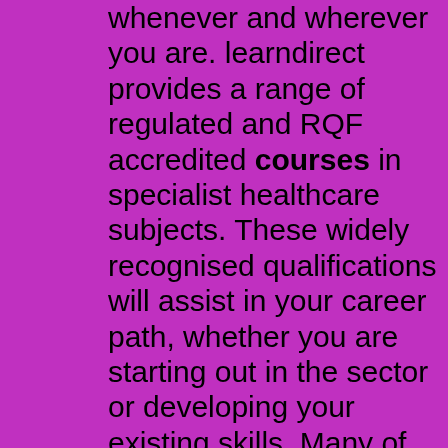whenever and wherever you are. learndirect provides a range of regulated and RQF accredited courses in specialist healthcare subjects. These widely recognised qualifications will assist in your career path, whether you are starting out in the sector or developing your existing skills. Many of the courses offer a blend of flexible online learning, as well as practical. A Specialty Certified Medical Assistant in Orthopedic Surgery (SCMA-ORS™) is an asset to any practice with his/her knowledge of Orthopedic terminology and treatments. Orthopedic Medical Assistants organize patient charts and collect data like vital signs, medical histories and allergy alerts. They, also, need a thorough understanding of wound. Gulfcoast Ultrasound Online Courses are a perfect fit for a Point-of-Care Medical Professional who either already has a source of hands-on training available to them, or just need a refresher course to stay on top of the most current ultrasound practices. Online Course topics are structured off of the same curriculum and lectures as a GCUS Live Course, simply without the hands-on training. Student will be given the names of foot care suppliers where you will be able to purchase foot care supplies and equipment at wholesale price. You will be expected to find on your own 20 case studies and upon completion of your foot care treatments, submit all 20 case studies using the high risk nursing assessment, nursing